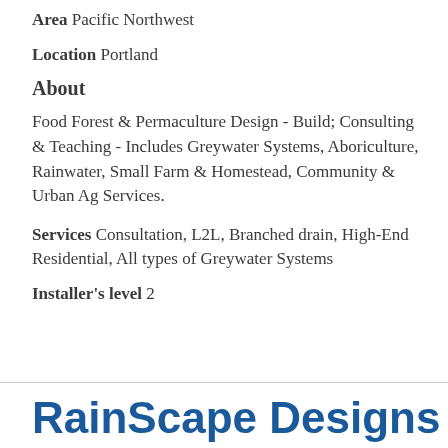Area  Pacific Northwest
Location  Portland
About
Food Forest & Permaculture Design - Build; Consulting & Teaching - Includes Greywater Systems, Aboriculture, Rainwater, Small Farm & Homestead, Community & Urban Ag Services.
Services  Consultation, L2L, Branched drain, High-End Residential, All types of Greywater Systems
Installer's level  2
RainScape Designs